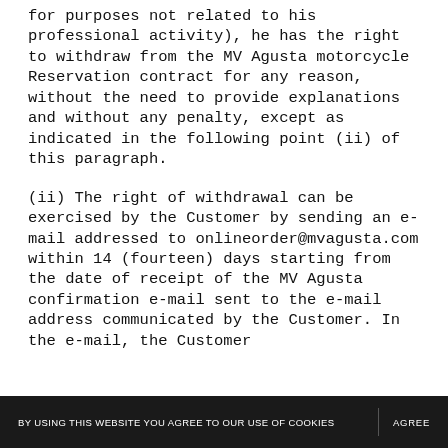for purposes not related to his professional activity), he has the right to withdraw from the MV Agusta motorcycle Reservation contract for any reason, without the need to provide explanations and without any penalty, except as indicated in the following point (ii) of this paragraph.
(ii) The right of withdrawal can be exercised by the Customer by sending an e-mail addressed to onlineorder@mvagusta.com within 14 (fourteen) days starting from the date of receipt of the MV Agusta confirmation e-mail sent to the e-mail address communicated by the Customer. In the e-mail, the Customer must fill in the "Booking ID" which will b...
BY USING THIS WEBSITE YOU AGREE TO OUR USE OF COOKIES   AGREE